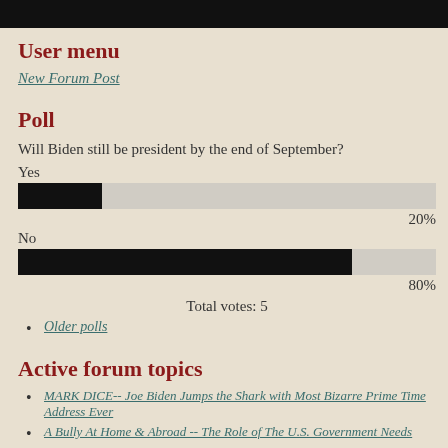User menu
New Forum Post
Poll
Will Biden still be president by the end of September?
Yes
[Figure (bar-chart): Poll - Yes/No]
No
Total votes: 5
Older polls
Active forum topics
MARK DICE-- Joe Biden Jumps the Shark with Most Bizarre Prime Time Address Ever
A Bully At Home & Abroad -- The Role of The U.S. Government Needs